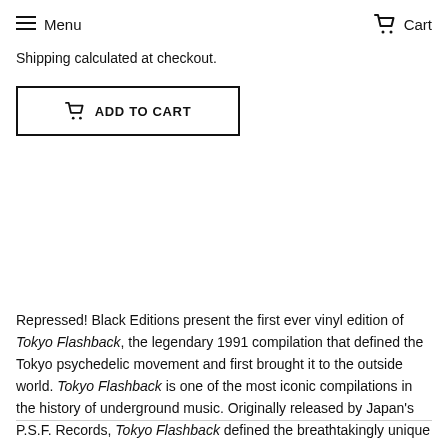Menu  Cart
Shipping calculated at checkout.
ADD TO CART
Repressed! Black Editions present the first ever vinyl edition of Tokyo Flashback, the legendary 1991 compilation that defined the Tokyo psychedelic movement and first brought it to the outside world. Tokyo Flashback is one of the most iconic compilations in the history of underground music. Originally released by Japan's P.S.F. Records, Tokyo Flashback defined the breathtakingly unique